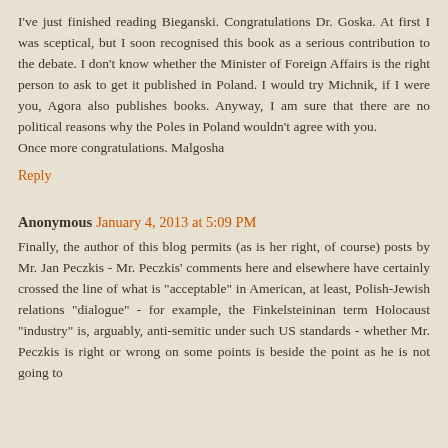I've just finished reading Bieganski. Congratulations Dr. Goska. At first I was sceptical, but I soon recognised this book as a serious contribution to the debate. I don't know whether the Minister of Foreign Affairs is the right person to ask to get it published in Poland. I would try Michnik, if I were you, Agora also publishes books. Anyway, I am sure that there are no political reasons why the Poles in Poland wouldn't agree with you.
Once more congratulations. Malgosha
Reply
Anonymous  January 4, 2013 at 5:09 PM
Finally, the author of this blog permits (as is her right, of course) posts by Mr. Jan Peczkis - Mr. Peczkis' comments here and elsewhere have certainly crossed the line of what is "acceptable" in American, at least, Polish-Jewish relations "dialogue" - for example, the Finkelsteininan term Holocaust "industry" is, arguably, anti-semitic under such US standards - whether Mr. Peczkis is right or wrong on some points is beside the point as he is not going to